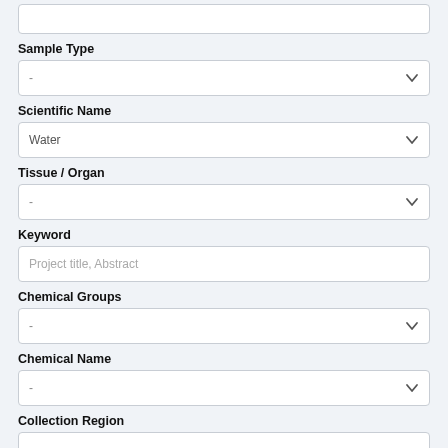(top input box — partially visible)
Sample Type
-
Scientific Name
Water
Tissue / Organ
-
Keyword
Project title, Abstract
Chemical Groups
-
Chemical Name
-
Collection Region
(bottom input box — partially visible)